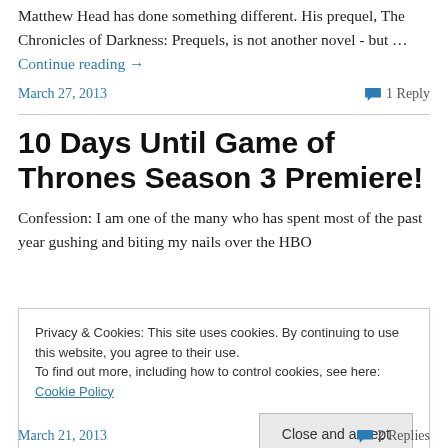Matthew Head has done something different. His prequel, The Chronicles of Darkness: Prequels, is not another novel - but … Continue reading →
March 27, 2013
1 Reply
10 Days Until Game of Thrones Season 3 Premiere!
Confession: I am one of the many who has spent most of the past year gushing and biting my nails over the HBO
Privacy & Cookies: This site uses cookies. By continuing to use this website, you agree to their use.
To find out more, including how to control cookies, see here: Cookie Policy
Close and accept
March 21, 2013
2 Replies